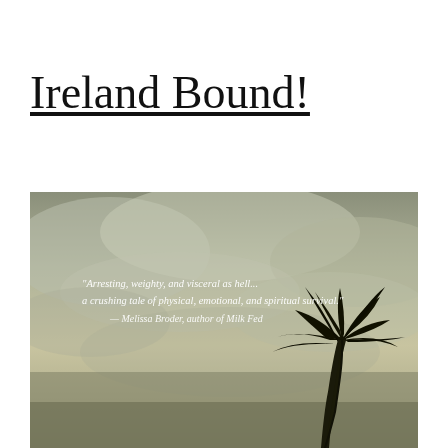Ireland Bound!
[Figure (photo): Book cover image with a moody, overcast sky background in grey-green tones, a silhouette of a palm tree in the lower right, and a blurb quote reading: "Arresting, weighty, and visceral as hell... a crushing tale of physical, emotional, and spiritual survival." — Melissa Broder, author of Milk Fed]